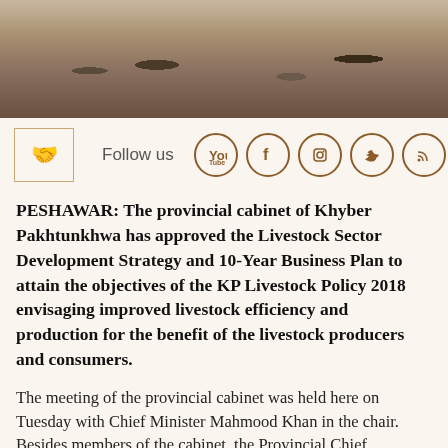[Figure (photo): Photograph showing ground-level view with sandy/rocky terrain and dark animal shapes, possibly livestock on dirt ground]
[Figure (infographic): Social media follow bar with wave/hand icon, 'Follow us' text, and circular social media icons: YouTube, Facebook, Instagram, Twitter, RSS feed]
PESHAWAR: The provincial cabinet of Khyber Pakhtunkhwa has approved the Livestock Sector Development Strategy and 10-Year Business Plan to attain the objectives of the KP Livestock Policy 2018 envisaging improved livestock efficiency and production for the benefit of the livestock producers and consumers.
The meeting of the provincial cabinet was held here on Tuesday with Chief Minister Mahmood Khan in the chair. Besides members of the cabinet, the Provincial Chief